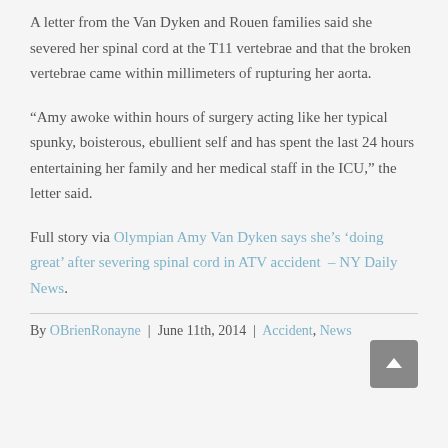A letter from the Van Dyken and Rouen families said she severed her spinal cord at the T11 vertebrae and that the broken vertebrae came within millimeters of rupturing her aorta.
“Amy awoke within hours of surgery acting like her typical spunky, boisterous, ebullient self and has spent the last 24 hours entertaining her family and her medical staff in the ICU,” the letter said.
Full story via Olympian Amy Van Dyken says she’s ‘doing great’ after severing spinal cord in ATV accident – NY Daily News.
By OBrienRonayne | June 11th, 2014 | Accident, News